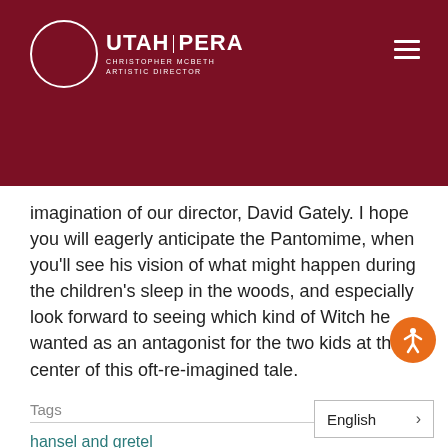[Figure (logo): Utah Opera logo with circle outline and text 'UTAH PERA CHRISTOPHER McBETH ARTISTIC DIRECTOR' on dark red background header with hamburger menu icon]
imagination of our director, David Gately. I hope you will eagerly anticipate the Pantomime, when you'll see his vision of what might happen during the children's sleep in the woods, and especially look forward to seeing which kind of Witch he wanted as an antagonist for the two kids at the center of this oft-re-imagined tale.
Tags
hansel and gretel
English